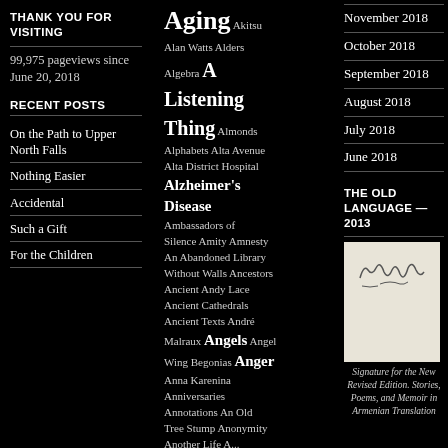THANK YOU FOR VISITING
99,975 pageviews since June 20, 2018
RECENT POSTS
On the Path to Upper North Falls
Nothing Easier
Accidental
Such a Gift
For the Children
[Figure (other): Tag cloud with terms: Aging, Akitsu, Alan Watts, Alders, Algebra, A Listening Thing, Almonds, Alphabets, Alta Avenue, Alta District Hospital, Alzheimer's Disease, Ambassadors of Silence, Amity, Amnesty, An Abandoned Library Without Walls, Ancestors, Ancient, Andy Lace, Ancient Cathedrals, Ancient Texts, André Malraux, Angels, Angel Wing Begonias, Anger, Anna Karenina, Anniversaries, Annotations, An Old Tree Stump, Anonymity]
November 2018
October 2018
September 2018
August 2018
July 2018
June 2018
THE OLD LANGUAGE — 2013
[Figure (illustration): Signature image for new revised edition book cover]
Signature for the New Revised Edition. Stories, Poems, and Memoir in Armenian Translation